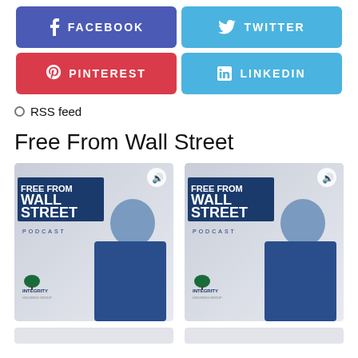[Figure (infographic): Social media share buttons: Facebook (purple-blue), Twitter (light blue), Pinterest (red), LinkedIn (light blue)]
RSS feed
Free From Wall Street
[Figure (photo): Free From Wall Street Podcast cover art showing a man in a blue suit with arms crossed, with 'FREE FROM WALL STREET PODCAST' text and Integrity Holdings Group logo]
[Figure (photo): Free From Wall Street Podcast cover art showing a man in a blue suit with arms crossed, with 'FREE FROM WALL STREET PODCAST' text and Integrity Holdings Group logo (duplicate)]